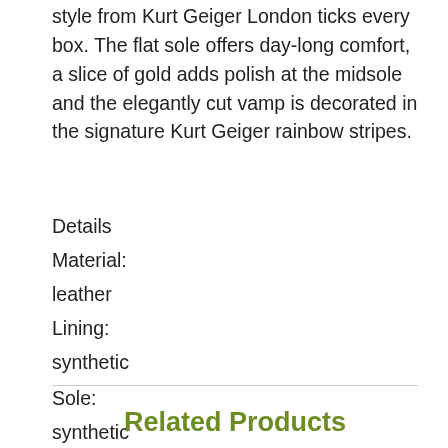style from Kurt Geiger London ticks every box. The flat sole offers day-long comfort, a slice of gold adds polish at the midsole and the elegantly cut vamp is decorated in the signature Kurt Geiger rainbow stripes.
Details
Material:
leather
Lining:
synthetic
Sole:
synthetic
Heel Height:
no heel
Related Products